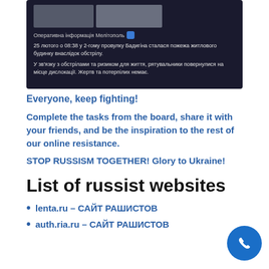[Figure (screenshot): Screenshot of a Telegram/social media post in Ukrainian about a fire at a residential building in Melitopol on February 25 at 08:38 due to shelling, with rescuers returning to base due to risk to life, no casualties.]
Everyone, keep fighting!
Complete the tasks from the board, share it with your friends, and be the inspiration to the rest of our online resistance.
STOP RUSSISM TOGETHER! Glory to Ukraine!
List of russist websites
lenta.ru – САЙТ РАШИСТОВ
auth.ria.ru – САЙТ РАШИСТОВ